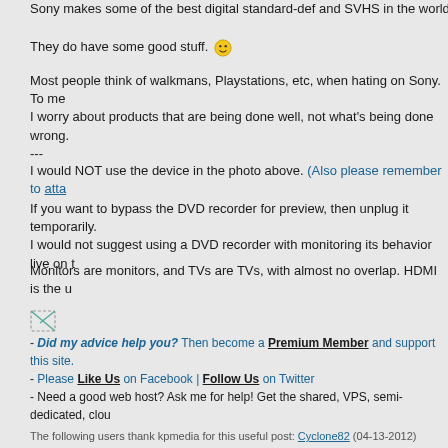Sony makes some of the best digital standard-def and SVHS in the world...
They do have some good stuff. 🙂
Most people think of walkmans, Playstations, etc, when hating on Sony. To me I worry about products that are being done well, not what's being done wrong.
---
I would NOT use the device in the photo above. (Also please remember to atta...
If you want to bypass the DVD recorder for preview, then unplug it temporarily. I would not suggest using a DVD recorder with monitoring its behavior live on t...
Monitors are monitors, and TVs are TVs, with almost no overlap. HDMI is the u...
- Did my advice help you? Then become a Premium Member and support this site.
- Please Like Us on Facebook | Follow Us on Twitter
- Need a good web host? Ask me for help! Get the shared, VPS, semi-dedicated, clou...
The following users thank kpmedia for this useful post: Cyclone82 (04-13-2012)